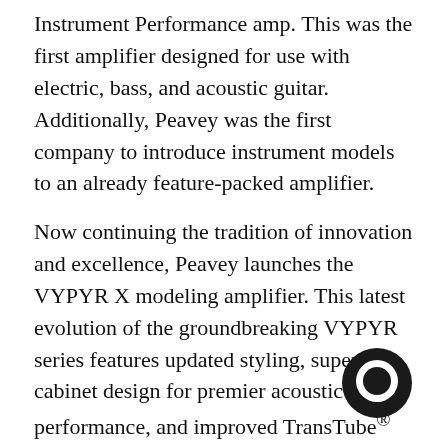Instrument Performance amp. This was the first amplifier designed for use with electric, bass, and acoustic guitar. Additionally, Peavey was the first company to introduce instrument models to an already feature-packed amplifier.
Now continuing the tradition of innovation and excellence, Peavey launches the VYPYR X modeling amplifier. This latest evolution of the groundbreaking VYPYR series features updated styling, superior cabinet design for premier acoustic performance, and improved TransTube® technology. The new VYPYR X2 also features Bluetooth® remote control and audio streaming in. Now users can stream backing tracks to the amplifier and control all settings via iOS remote app control.
[Figure (illustration): A circular chat/message icon (dark ring with hollow center) overlapping the text in the bottom right area]